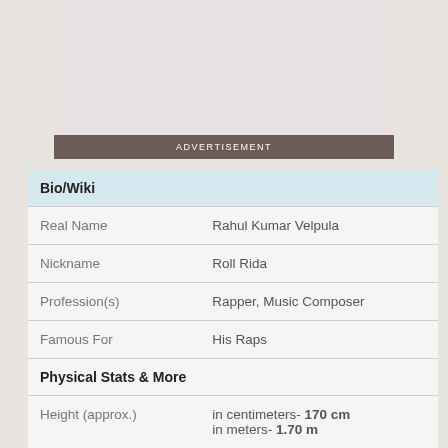[Figure (other): Advertisement placeholder image area with grey background]
ADVERTISEMENT
|  |  |
| --- | --- |
| Bio/Wiki |  |
| Real Name | Rahul Kumar Velpula |
| Nickname | Roll Rida |
| Profession(s) | Rapper, Music Composer |
| Famous For | His Raps |
| Physical Stats & More |  |
| Height (approx.) | in centimeters- 170 cm
in meters- 1.70 m |